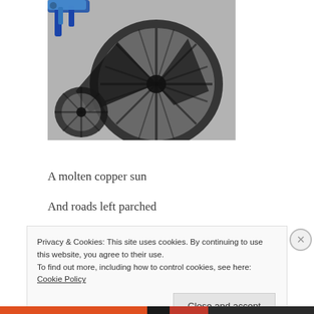[Figure (photo): Photograph of a bicycle wheel and its shadow cast on asphalt pavement. The bicycle is blue and the shadow is dramatic and dark against the light-grey road surface.]
A molten copper sun
And roads left parched
By a week of quicklime frosts
Privacy & Cookies: This site uses cookies. By continuing to use this website, you agree to their use.
To find out more, including how to control cookies, see here: Cookie Policy
Close and accept